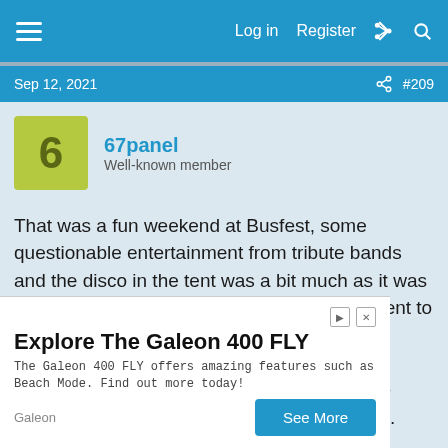Log in  Register
Sep 12, 2021  #209
67panel
Well-known member
That was a fun weekend at Busfest, some questionable entertainment from tribute bands and the disco in the tent was a bit much as it was making my bus vibrate from the bass. Still went to sleep through it Fri night!! Bit damp Friday evening but it was roasting in the afternoon setting up the awning. Nice for the rest of the weekend, enjoyed the music in the chill zone. Anyway took a load of pics but have only managed to upload
Explore The Galeon 400 FLY
The Galeon 400 FLY offers amazing features such as Beach Mode. Find out more today!
Galeon  See More